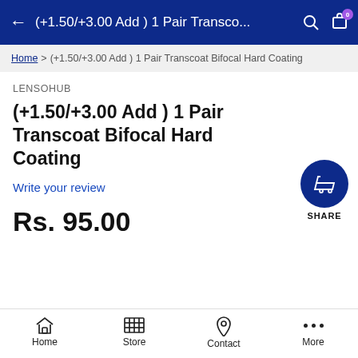(+1.50/+3.00 Add ) 1 Pair Transco...
Home > (+1.50/+3.00 Add ) 1 Pair Transcoat Bifocal Hard Coating
LENSOHUB
(+1.50/+3.00 Add ) 1 Pair Transcoat Bifocal Hard Coating
Write your review
Rs. 95.00
[Figure (screenshot): Share button: dark blue circle with shopping cart icon, labeled SHARE]
Home  Store  Contact  More